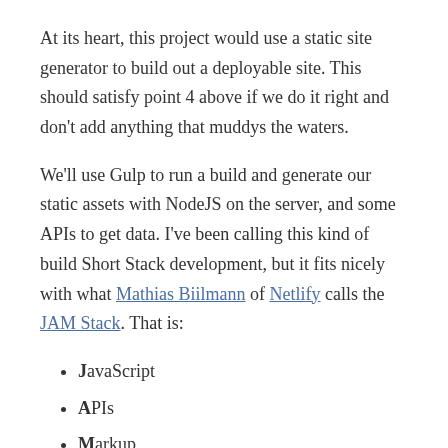At its heart, this project would use a static site generator to build out a deployable site. This should satisfy point 4 above if we do it right and don't add anything that muddys the waters.
We'll use Gulp to run a build and generate our static assets with NodeJS on the server, and some APIs to get data. I've been calling this kind of build Short Stack development, but it fits nicely with what Mathias Biilmann of Netlify calls the JAM Stack. That is:
JavaScript
APIs
Markup
Abstracting the content management